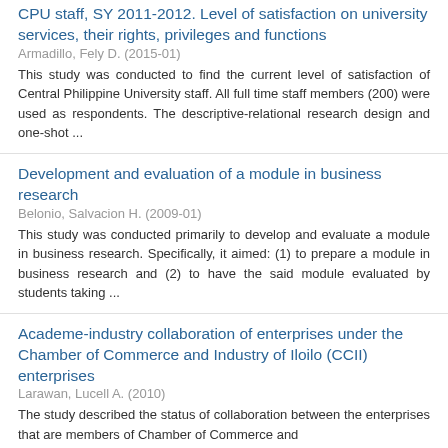CPU staff, SY 2011-2012. Level of satisfaction on university services, their rights, privileges and functions
Armadillo, Fely D. (2015-01)
This study was conducted to find the current level of satisfaction of Central Philippine University staff. All full time staff members (200) were used as respondents. The descriptive-relational research design and one-shot ...
Development and evaluation of a module in business research
Belonio, Salvacion H. (2009-01)
This study was conducted primarily to develop and evaluate a module in business research. Specifically, it aimed: (1) to prepare a module in business research and (2) to have the said module evaluated by students taking ...
Academe-industry collaboration of enterprises under the Chamber of Commerce and Industry of Iloilo (CCII) enterprises
Larawan, Lucell A. (2010)
The study described the status of collaboration between the enterprises that are members of Chamber of Commerce and